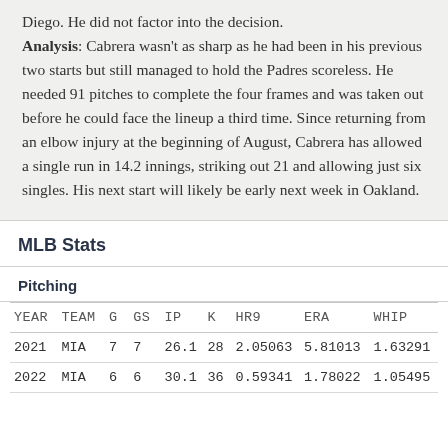Diego. He did not factor into the decision. Analysis: Cabrera wasn't as sharp as he had been in his previous two starts but still managed to hold the Padres scoreless. He needed 91 pitches to complete the four frames and was taken out before he could face the lineup a third time. Since returning from an elbow injury at the beginning of August, Cabrera has allowed a single run in 14.2 innings, striking out 21 and allowing just six singles. His next start will likely be early next week in Oakland.
MLB Stats
Pitching
| YEAR | TEAM | G | GS | IP | K | HR9 | ERA | WHIP |
| --- | --- | --- | --- | --- | --- | --- | --- | --- |
| 2021 | MIA | 7 | 7 | 26.1 | 28 | 2.05063 | 5.81013 | 1.63291 |
| 2022 | MIA | 6 | 6 | 30.1 | 36 | 0.59341 | 1.78022 | 1.05495 |